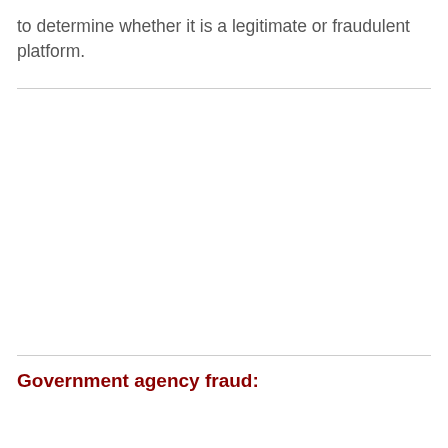to determine whether it is a legitimate or fraudulent platform.
Government agency fraud: